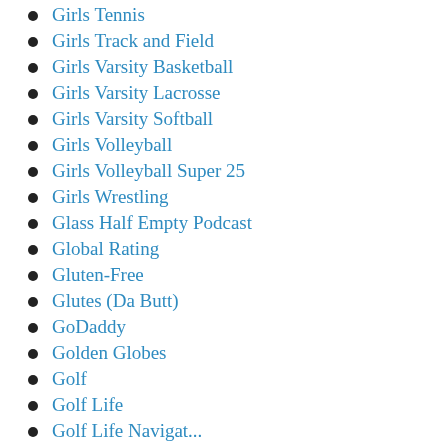Girls Tennis
Girls Track and Field
Girls Varsity Basketball
Girls Varsity Lacrosse
Girls Varsity Softball
Girls Volleyball
Girls Volleyball Super 25
Girls Wrestling
Glass Half Empty Podcast
Global Rating
Gluten-Free
Glutes (Da Butt)
GoDaddy
Golden Globes
Golf
Golf Life
Golf Life Navigat...